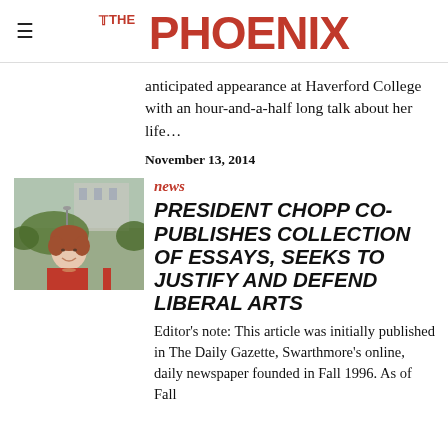THE PHOENIX
anticipated appearance at Haverford College with an hour-and-a-half long talk about her life...
November 13, 2014
[Figure (photo): Photo of a woman in a red jacket smiling, with a building and trees in the background]
news
PRESIDENT CHOPP CO-PUBLISHES COLLECTION OF ESSAYS, SEEKS TO JUSTIFY AND DEFEND LIBERAL ARTS
Editor's note: This article was initially published in The Daily Gazette, Swarthmore's online, daily newspaper founded in Fall 1996. As of Fall